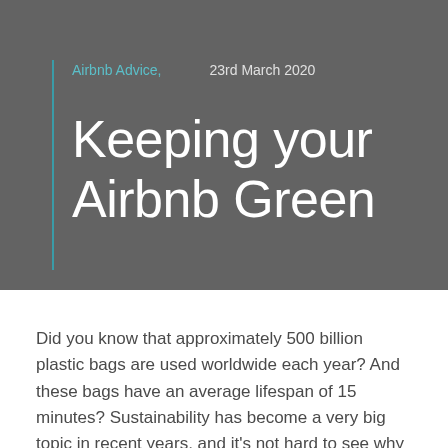Airbnb Advice,    23rd March 2020
Keeping your Airbnb Green
Did you know that approximately 500 billion plastic bags are used worldwide each year? And these bags have an average lifespan of 15 minutes? Sustainability has become a very big topic in recent years, and it's not hard to see why due to the havoc global warming is